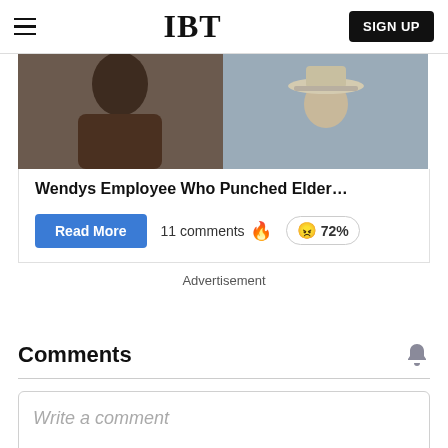IBT  SIGN UP
[Figure (photo): Split image showing a man's face on the left and a person wearing a cowboy hat on the right]
Wendys Employee Who Punched Elder…
Read More   11 comments   🔥   😠 72%
Advertisement
Comments
Write a comment
B  I  U  X²  🔗  <>  toolbar icons